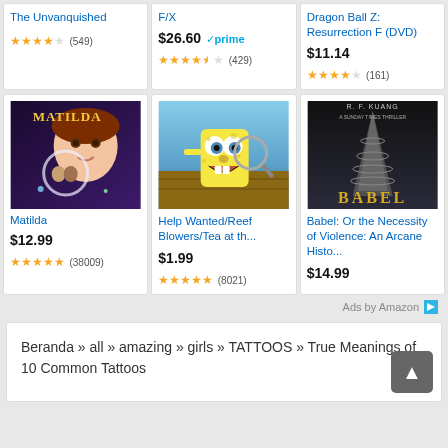The Unvanquished
F/X
Dragon Ball Z: Resurrection F (DVD)
$26.60 prime
$11.14
(549)
(429)
(161)
[Figure (photo): Matilda movie cover showing a young girl with magical effects]
Matilda
$12.99
(38009)
[Figure (photo): SpongeBob SquarePants holding a magnifying glass]
Help Wanted/Reef Blowers/Tea at th...
$1.99
(8021)
[Figure (photo): Babel book cover by R.F. Kuang showing a dark tower]
Babel: Or the Necessity of Violence: An Arcane Histo...
$14.99
Ads by Amazon
Beranda » all » amazing » girls » TATTOOS » True Meanings of 10 Common Tattoos